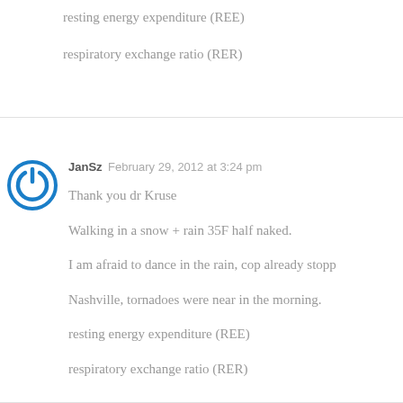resting energy expenditure (REE)
respiratory exchange ratio (RER)
JanSz  February 29, 2012 at 3:24 pm
Thank you dr Kruse
Walking in a snow + rain 35F half naked.
I am afraid to dance in the rain, cop already stopp
Nashville, tornadoes were near in the morning.
resting energy expenditure (REE)
respiratory exchange ratio (RER)